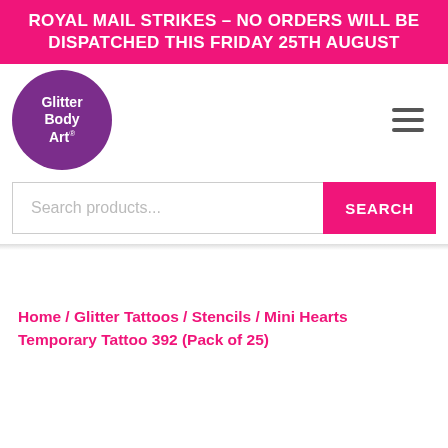ROYAL MAIL STRIKES – NO ORDERS WILL BE DISPATCHED THIS FRIDAY 25TH AUGUST
[Figure (logo): Glitter Body Art circular purple logo with white text]
Search products...
SEARCH
Home / Glitter Tattoos / Stencils / Mini Hearts Temporary Tattoo 392 (Pack of 25)